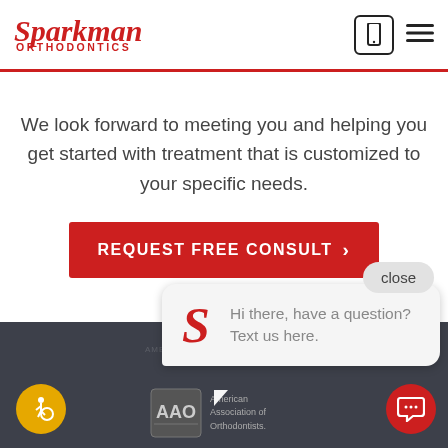[Figure (logo): Sparkman Orthodontics logo in red italic script with ORTHODONTICS in red uppercase letters below]
We look forward to meeting you and helping you get started with treatment that is customized to your specific needs.
REQUEST FREE CONSULT >
close
Hi there, have a question? Text us here.
[Figure (logo): AAO - American Association of Orthodontists logo in dark gray]
[Figure (infographic): Accessibility icon - person in wheelchair on yellow circle]
[Figure (other): Red circular chat button with speech bubble icon]